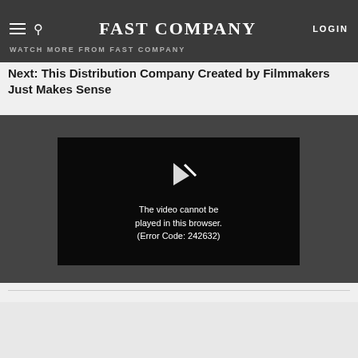FAST COMPANY | LOGIN | WATCH MORE FROM FAST COMPANY
Next: This Distribution Company Created by Filmmakers Just Makes Sense
[Figure (screenshot): Video player showing error message: The video cannot be played in this browser. (Error Code: 242632)]
[Figure (screenshot): Advertisement banner: CALL FOR ENTRIES - EARLY RATE ENDS AUGUST 19 - Most Innovative Companies]